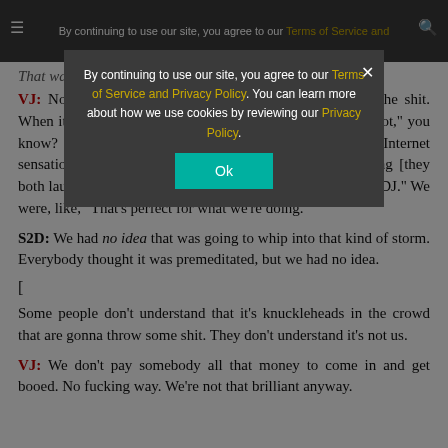By continuing to use our site, you agree to our Terms of Service and Privacy Policy. You can learn more about how we use cookies by reviewing our Privacy Policy.
VJ: [partially obscured] That wasn't on purpose?
VJ: No-o-o-o. We bring in who we think it's gonna be the shit. When it comes to Tila Tequila, we thought, "That bitch is hot," you know? "People are gonna want to see her, she's like an Internet sensation for being hot." And then we listened to her song [they both laugh] — she had a song out called "I Wanna Fuck the DJ." We were, like, "That's perfect for what we're doing."
S2D: We had no idea that was going to whip into that kind of storm. Everybody thought it was premeditated, but we had no idea.
[
Some people don't understand that it's knuckleheads in the crowd that are gonna throw some shit. They don't understand it's not us.
VJ: We don't pay somebody all that money to come in and get booed. No fucking way. We're not that brilliant anyway.